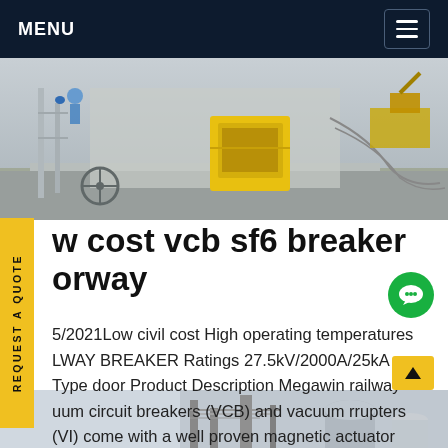MENU
[Figure (photo): Construction site photo showing yellow equipment box and machinery outdoors]
w cost vcb sf6 breaker orway
5/2021Low civil cost High operating temperatures LWAY BREAKER Ratings 27.5kV/2000A/25kA Type door Product Description Megawin railway uum circuit breakers (VCB) and vacuum rrupters (VI) come with a well proven magnetic actuator robustGet price
[Figure (photo): Bottom strip showing industrial equipment or machinery]